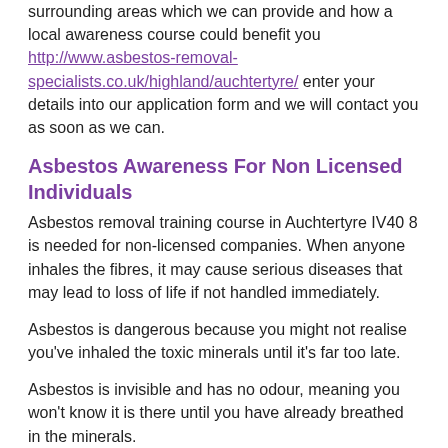surrounding areas which we can provide and how a local awareness course could benefit you http://www.asbestos-removal-specialists.co.uk/highland/auchtertyre/ enter your details into our application form and we will contact you as soon as we can.
Asbestos Awareness For Non Licensed Individuals
Asbestos removal training course in Auchtertyre IV40 8 is needed for non-licensed companies. When anyone inhales the fibres, it may cause serious diseases that may lead to loss of life if not handled immediately.
Asbestos is dangerous because you might not realise you've inhaled the toxic minerals until it's far too late.
Asbestos is invisible and has no odour, meaning you won't know it is there until you have already breathed in the minerals.
Specialist Training Requirements
It's important to get nearby professionals to eliminate the asbestos fibres because it's so hazardous. The experts have several strategies to find if asbestos fibre is there. When they are checking,